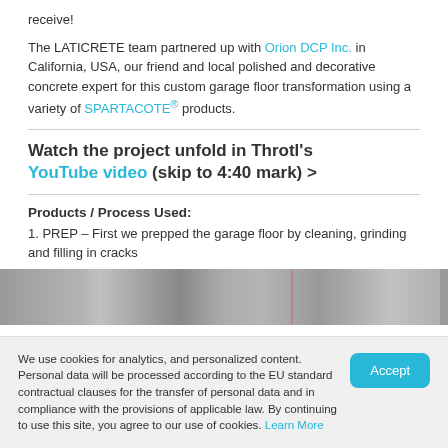receive!
The LATICRETE team partnered up with Orion DCP Inc. in California, USA, our friend and local polished and decorative concrete expert for this custom garage floor transformation using a variety of SPARTACOTE® products.
Watch the project unfold in Throtl's YouTube video (skip to 4:40 mark) >
Products / Process Used:
1. PREP – First we prepped the garage floor by cleaning, grinding and filling in cracks
[Figure (photo): Horizontal strip showing a concrete garage floor surface in grayscale with a faint vertical line]
We use cookies for analytics, and personalized content. Personal data will be processed according to the EU standard contractual clauses for the transfer of personal data and in compliance with the provisions of applicable law. By continuing to use this site, you agree to our use of cookies. Learn More